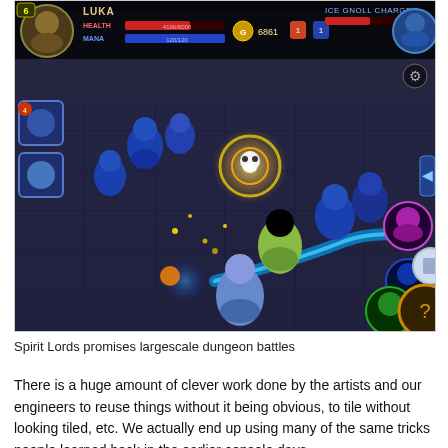[Figure (screenshot): Screenshot of a mobile game called Spirit Lords showing large-scale dungeon battle with characters fighting, HUD elements including health/mana bars, character portrait, gold count, and action skill buttons.]
Spirit Lords promises largescale dungeon battles
There is a huge amount of clever work done by the artists and our engineers to reuse things without it being obvious, to tile without looking tiled, etc. We actually end up using many of the same tricks people learned back in the earlier console days.